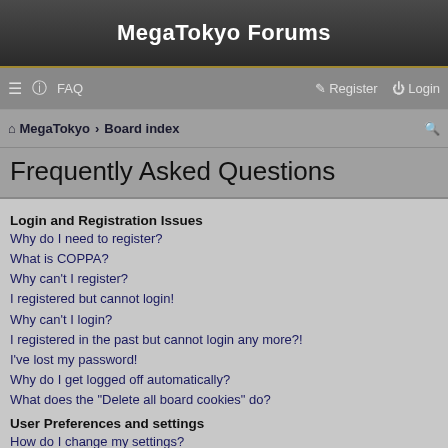MegaTokyo Forums
☰  FAQ    Register  Login
MegaTokyo › Board index
Frequently Asked Questions
Login and Registration Issues
Why do I need to register?
What is COPPA?
Why can't I register?
I registered but cannot login!
Why can't I login?
I registered in the past but cannot login any more?!
I've lost my password!
Why do I get logged off automatically?
What does the "Delete all board cookies" do?
User Preferences and settings
How do I change my settings?
How do I prevent my username appearing in the online user listings?
The times are not correct!
I changed the timezone and the time is still wrong!
My language is not in the list!
What are the images next to my username?